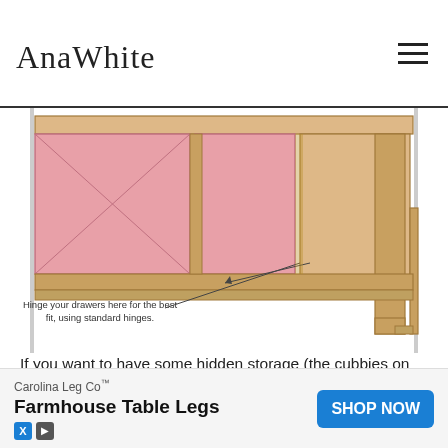AnaWhite
[Figure (engineering-diagram): Technical illustration of furniture piece (bed frame/storage unit) showing pink-painted panels and wooden frame legs. A callout label reads: 'Hinge your drawers here for the best fit, using standard hinges.']
If you want to have some hidden storage (the cubbies on the ends are perfect for fabric bins, and also allow for a nightstand) it's easy to build doors. You should measure the opening, with your doors starting in the center of the bed and covering the outer dividers. I used 1x2s to build a frame, placed plywood on the back (make sure that the plywood is 3/4" short on the ends, so that the door can sit fully inset) with 3/4" finish nails and glue, and attached with hinges and clasps. After many trials and as many errors, the
[Figure (other): Advertisement banner: Carolina Leg Co™ — Farmhouse Table Legs — SHOP NOW button]